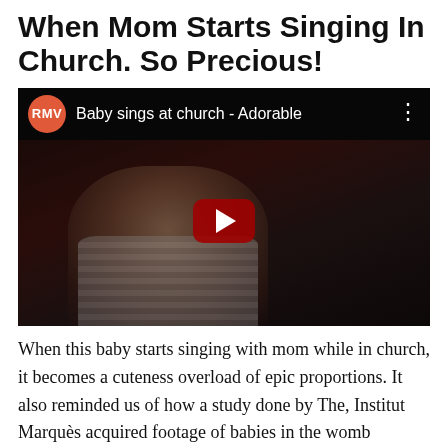When Mom Starts Singing In Church. So Precious!
[Figure (screenshot): YouTube video embed showing a baby singing at church. Video title: 'Baby sings at church - Adorable' by channel RMV. Dark thumbnail showing a baby with mouth open appearing to sing, held by an adult in a striped shirt. Red YouTube play button in center.]
When this baby starts singing with mom while in church, it becomes a cuteness overload of epic proportions. It also reminded us of how a study done by The, Institut Marquès acquired footage of babies in the womb singing. Science now has